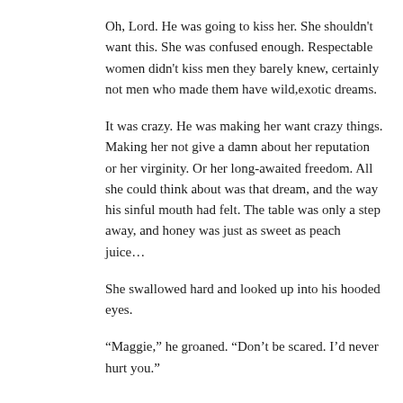Oh, Lord. He was going to kiss her. She shouldn't want this. She was confused enough. Respectable women didn't kiss men they barely knew, certainly not men who made them have wild,exotic dreams.
It was crazy. He was making her want crazy things. Making her not give a damn about her reputation or her virginity. Or her long-awaited freedom. All she could think about was that dream, and the way his sinful mouth had felt. The table was only a step away, and honey was just as sweet as peach juice…
She swallowed hard and looked up into his hooded eyes.
“Maggie,” he groaned. “Don’t be scared. I’d never hurt you.”